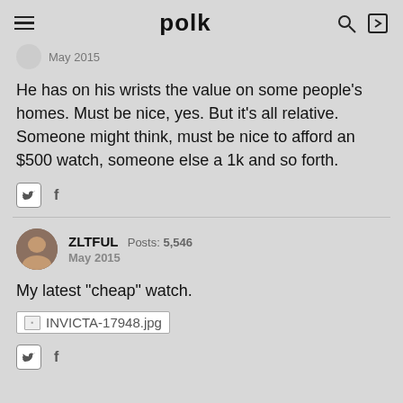polk
May 2015
He has on his wrists the value on some people's homes. Must be nice, yes. But it's all relative. Someone might think, must be nice to afford an $500 watch, someone else a 1k and so forth.
ZLTFUL  Posts: 5,546
May 2015
My latest "cheap" watch.
[Figure (photo): Image placeholder for INVICTA-17948.jpg]